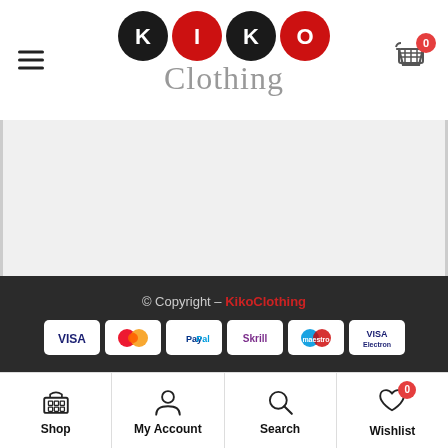[Figure (logo): Kiko Clothing logo with colored circles spelling KIKO and 'Clothing' text beneath]
[Figure (screenshot): Empty grey content area]
© Copyright — KikoClothing
[Figure (infographic): Payment method icons: VISA, Mastercard, PayPal, Skrill, Maestro, VISA Electron]
Shop | My Account | Search | Wishlist